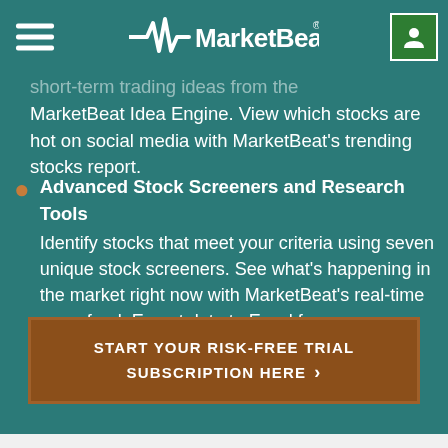MarketBeat
short-term trading ideas from the MarketBeat Idea Engine. View which stocks are hot on social media with MarketBeat’s trending stocks report.
Advanced Stock Screeners and Research Tools
Identify stocks that meet your criteria using seven unique stock screeners. See what’s happening in the market right now with MarketBeat’s real-time news feed. Export data to Excel for your own analysis.
START YOUR RISK-FREE TRIAL SUBSCRIPTION HERE >